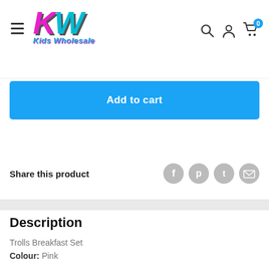[Figure (logo): Kids Wholesale logo with KW letters in pink and cyan with italic script subtitle]
[Figure (infographic): Add to cart blue button]
Share this product
[Figure (infographic): Social share icons: Facebook, Pinterest, Twitter, Email]
Description
Trolls Breakfast Set
Colour: Pink